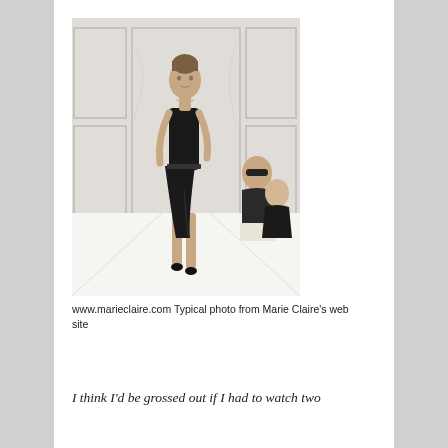[Figure (photo): A very thin female fashion model walking a runway in a black sleeveless dress with a slit, with audience members seated in the background, on a white runway floor with decorative white paneled backdrop.]
www.marieclaire.com Typical photo from Marie Claire's web site
I think I'd be grossed out if I had to watch two